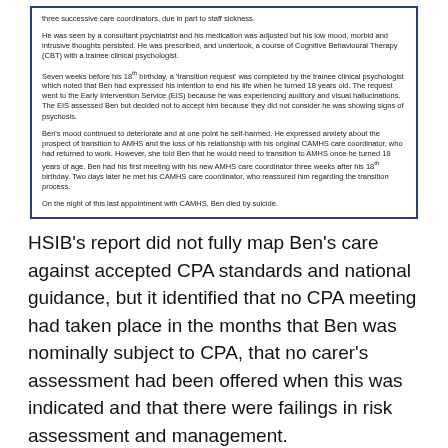three successive care coordinators, due in part to staff sickness.

He was seen by a consultant psychiatrist and his medication was adjusted but his low mood, morbid and intrusive thoughts persisted. He was prescribed, and undertook, a course of Cognitive Behavioural Therapy (CBT) with a trainee clinical psychologist.

Seven weeks before his 18th birthday, a 'transition request' was completed by the trainee clinical psychologist which noted that Ben had expressed his intention to end his life when he turned 18 years old. The request went to the Early Intervention Service (EIS) because he was experiencing auditory and visual hallucinations. The EIS assessed Ben but decided not to accept him because they did not consider he was showing signs of psychosis.

Ben's mood continued to deteriorate and at one point he self-harmed. He expressed anxiety about the prospect of transition to AMHS and the loss of his relationship with his original CAMHS care coordinator, who had returned to work. However, she told Ben that he would need to transition to AMHS once he turned 18 years of age. Ben had his first meeting with his new AMHS care coordinator three weeks after his 18th birthday. Two days later he met his CAMHS care coordinator, who reassured him regarding the transition process.

On the night of this last appointment with CAMHS, Ben died by suicide.
HSIB's report did not fully map Ben's care against accepted CPA standards and national guidance, but it identified that no CPA meeting had taken place in the months that Ben was nominally subject to CPA, that no carer's assessment had been offered when this was indicated and that there were failings in risk assessment and management.